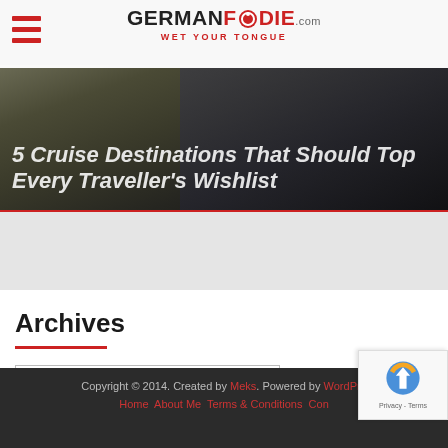GERMANFOODIE.com — WET YOUR TONGUE
5 Cruise Destinations That Should Top Every Traveller's Wishlist
[Figure (other): Gray advertisement/banner placeholder area]
Archives
Select Month (dropdown)
[Figure (other): reCAPTCHA Privacy - Terms badge]
Copyright © 2014. Created by Meks. Powered by WordPress. Home About Me Terms & Conditions Con...